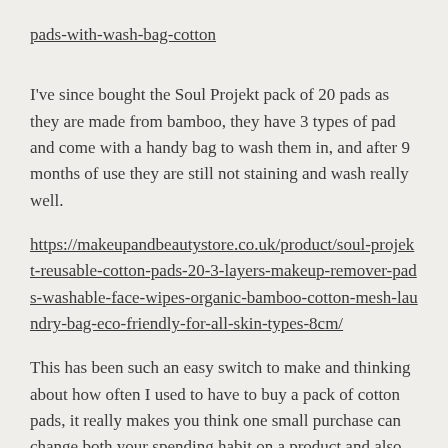pads-with-wash-bag-cotton
I've since bought the Soul Projekt pack of 20 pads as they are made from bamboo, they have 3 types of pad and come with a handy bag to wash them in, and after 9 months of use they are still not staining and wash really well.
https://makeupandbeautystore.co.uk/product/soul-projekt-reusable-cotton-pads-20-3-layers-makeup-remover-pads-washable-face-wipes-organic-bamboo-cotton-mesh-laundry-bag-eco-friendly-for-all-skin-types-8cm/
This has been such an easy switch to make and thinking about how often I used to have to buy a pack of cotton pads, it really makes you think one small purchase can change both your spending habit on a product and also change the amount of waste you are sending to landfill.